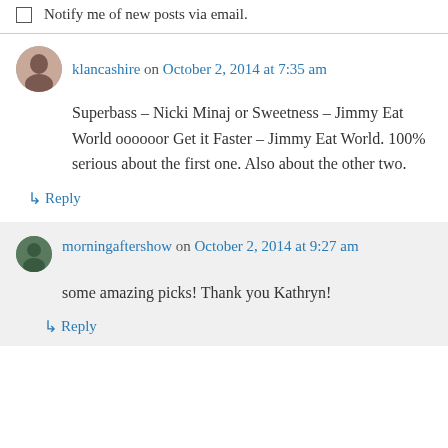Notify me of new posts via email.
klancashire on October 2, 2014 at 7:35 am
Superbass – Nicki Minaj or Sweetness – Jimmy Eat World oooooor Get it Faster – Jimmy Eat World. 100% serious about the first one. Also about the other two.
↳ Reply
morningaftershow on October 2, 2014 at 9:27 am
some amazing picks! Thank you Kathryn!
↳ Reply